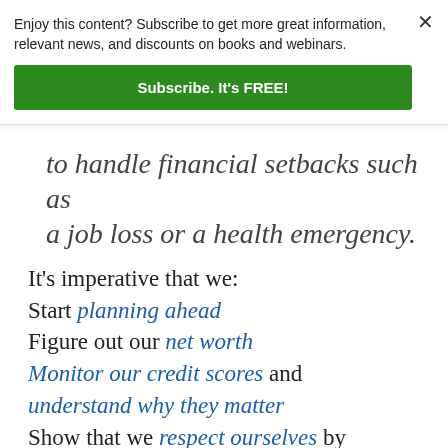Enjoy this content? Subscribe to get more great information, relevant news, and discounts on books and webinars.
Subscribe. It's FREE!
to handle financial setbacks such as a job loss or a health emergency.
It's imperative that we:
Start planning ahead
Figure out our net worth
Monitor our credit scores and understand why they matter
Show that we respect ourselves by making good money choices
Make a spending plan
Don't use quick cash services